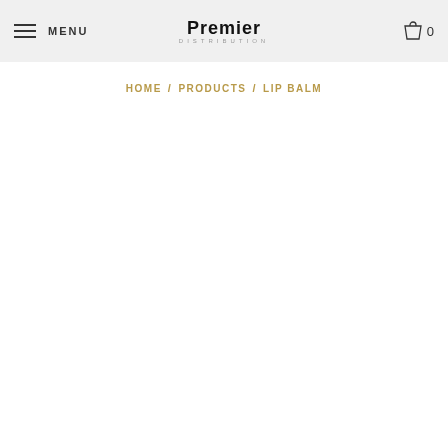MENU | Premier Distribution | 0
HOME / PRODUCTS / LIP BALM